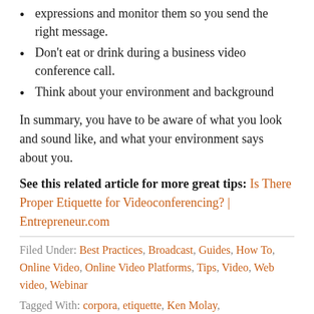expressions and monitor them so you send the right message.
Don't eat or drink during a business video conference call.
Think about your environment and background
In summary, you have to be aware of what you look and sound like, and what your environment says about you.
See this related article for more great tips: Is There Proper Etiquette for Videoconferencing? | Entrepreneur.com
Filed Under: Best Practices, Broadcast, Guides, How To, Online Video, Online Video Platforms, Tips, Video, Web video, Webinar
Tagged With: corpora, etiquette, Ken Molay,